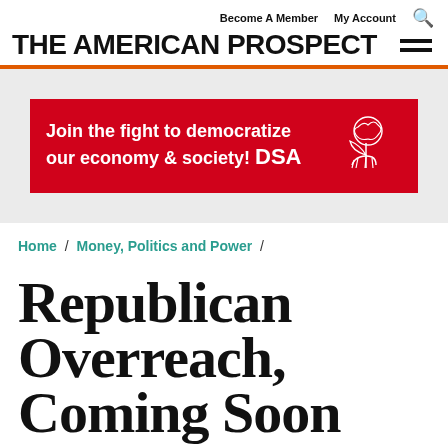Become A Member   My Account   🔍
THE AMERICAN PROSPECT
[Figure (infographic): DSA advertisement banner on red background: 'Join the fight to democratize our economy & society! DSA' with DSA rose logo illustration]
Home / Money, Politics and Power /
Republican Overreach, Coming Soon